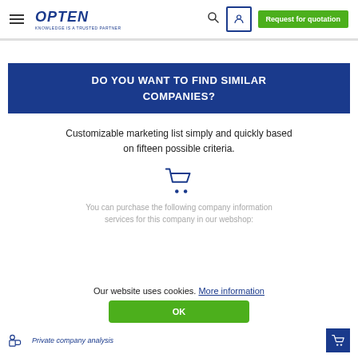OPTEN — KNOWLEDGE IS A TRUSTED PARTNER | Search | User | Request for quotation
DO YOU WANT TO FIND SIMILAR COMPANIES?
Customizable marketing list simply and quickly based on fifteen possible criteria.
[Figure (illustration): Shopping cart icon in blue outline style]
You can purchase the following company information services for this company in our webshop:
Our website uses cookies. More information
OK
Private company analysis